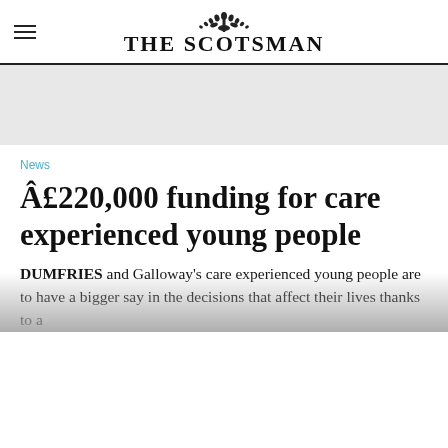THE SCOTSMAN
News
Â£220,000 funding for care experienced young people
DUMFRIES and Galloway's care experienced young people are to have a bigger say in the decisions that affect their lives thanks to a